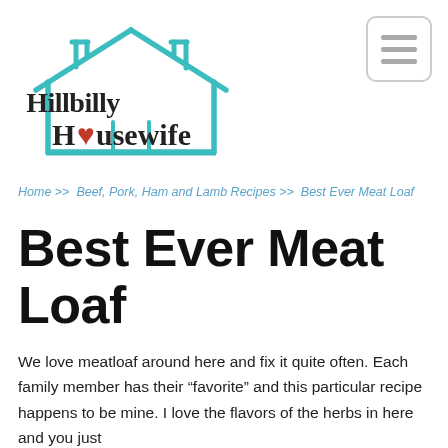[Figure (logo): Hillbilly Housewife logo: teal outline of a house with 'Hillbilly Housewife' text, the 'o' in Housewife replaced with a red heart]
Home >> Beef, Pork, Ham and Lamb Recipes >> Best Ever Meat Loaf
Best Ever Meat Loaf
We love meatloaf around here and fix it quite often. Each family member has their “favorite” and this particular recipe happens to be mine. I love the flavors of the herbs in here and you just